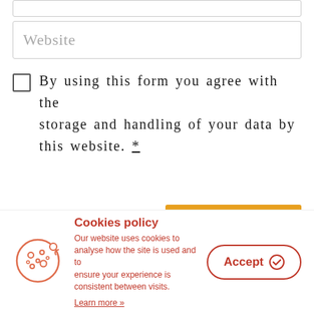[Figure (screenshot): Partial top input field (cropped at top of page)]
[Figure (screenshot): Website input text field with placeholder text 'Website']
By using this form you agree with the storage and handling of your data by this website. *
[Figure (screenshot): Orange 'POST COMMENT' button]
Cookies policy
Our website uses cookies to analyse how the site is used and to ensure your experience is consistent between visits.
Learn more »
[Figure (screenshot): Accept button with checkmark icon, red border, rounded rectangle]